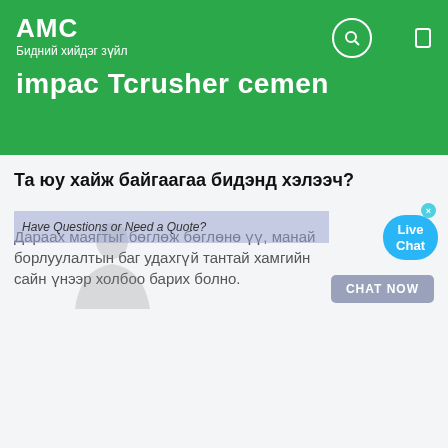АМС
Бидний хийдэг зүйл
impac Tcrusher cemen
Та юу хайж байгаагаа бидэнд хэлээч?
Дараах маягтыг бөглөж бөглөнө үү, манай борлуулалтын баг удахгүй тантай хамгийн сайн үнээр холбоо барих болно.
нэр: *
Жишээлбэл: Том
Имэйл: *
Жишээлбэл: contact@shanghaimeilan.com
Утас: *
(Улсын нэмэлт): 86-1234